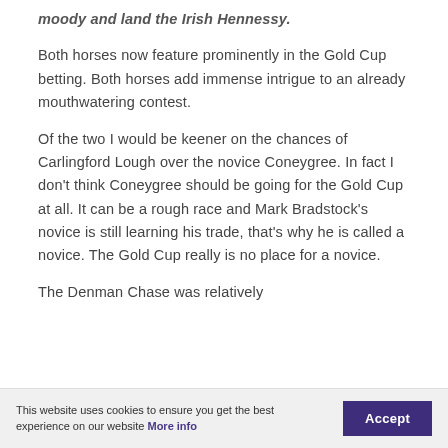moody and land the Irish Hennessy.
Both horses now feature prominently in the Gold Cup betting. Both horses add immense intrigue to an already mouthwatering contest.
Of the two I would be keener on the chances of Carlingford Lough over the novice Coneygree. In fact I don’t think Coneygree should be going for the Gold Cup at all. It can be a rough race and Mark Bradstock’s novice is still learning his trade, that’s why he is called a novice. The Gold Cup really is no place for a novice.
The Denman Chase was relatively
This website uses cookies to ensure you get the best experience on our website More info